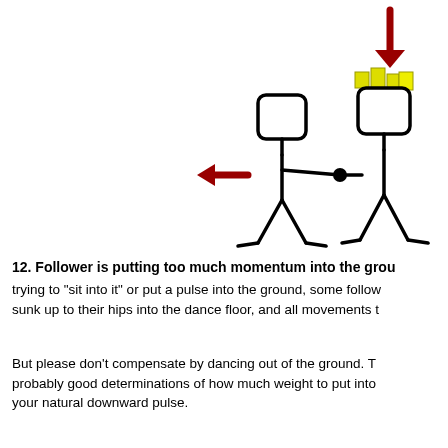[Figure (illustration): Stick figure illustration showing two stick figures: a leader on the left and a follower on the right with a yellow hat/crown on head. A red arrow points downward onto the follower's head from above, and a red arrow points to the left from the leader's body, indicating momentum direction. The figures are connected by a line at their joined hands with a black dot at the connection point.]
12. Follower is putting too much momentum into the grou...
trying to "sit into it" or put a pulse into the ground, some follow... sunk up to their hips into the dance floor, and all movements t...
But please don't compensate by dancing out of the ground. T... probably good determinations of how much weight to put into... your natural downward pulse.